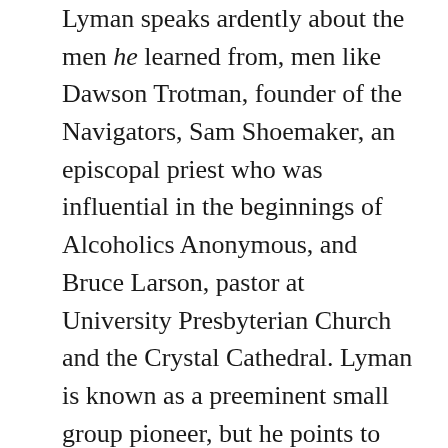Lyman speaks ardently about the men he learned from, men like Dawson Trotman, founder of the Navigators, Sam Shoemaker, an episcopal priest who was influential in the beginnings of Alcoholics Anonymous, and Bruce Larson, pastor at University Presbyterian Church and the Crystal Cathedral. Lyman is known as a preeminent small group pioneer, but he points to others who had a profound influence on him. Besides those mentioned above, he talks about other people he did ministry with: Bill Bright, Elton Trueblood, Stacey Woods, Keith Miller, Roberta Hestenes, and of course his brother Robert (author of Master Plan of Evangelism among other books).